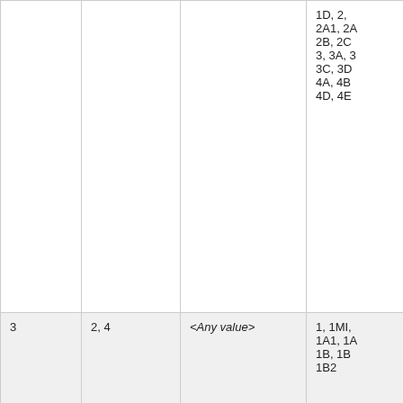|  |  |  |  |
| --- | --- | --- | --- |
|  |  |  | 1D, 2, 2A1, 2A, 2B, 2C 3, 3A, 3 3C, 3D 4A, 4B 4D, 4E |
| 3 | 2,  4 | <Any value> | 1, 1MI, 1A1, 1A, 1B, 1B 1B2 |
| 3 | 2,  4 | <Any value> | 1C, 1D 2A, 2A 2A2, 2B 2C, 2D 3A, 3B 3D, 4, 4 4B, 4C 4E |
| 3 | 2,  4 | <Any value> | 1, 1MI, 1A1, 1 |